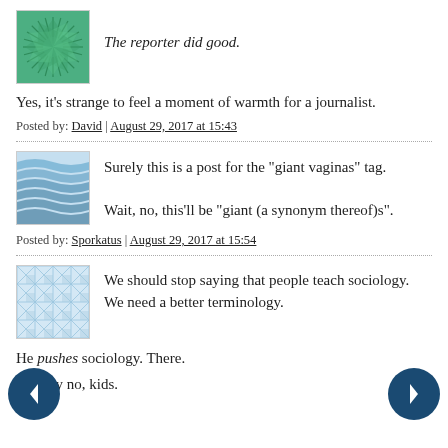[Figure (illustration): Green spiral/starburst avatar icon for user David]
The reporter did good.
Yes, it's strange to feel a moment of warmth for a journalist.
Posted by: David | August 29, 2017 at 15:43
[Figure (illustration): Blue striped/wave pattern avatar icon for user Sporkatus]
Surely this is a post for the "giant vaginas" tag.
Wait, no, this'll be "giant (a synonym thereof)s".
Posted by: Sporkatus | August 29, 2017 at 15:54
[Figure (illustration): Light blue lattice/geometric pattern avatar icon for third user]
We should stop saying that people teach sociology. We need a better terminology.
He pushes sociology. There.

Just say no, kids.
[Figure (illustration): Left navigation arrow button (dark blue circle with white left arrow)]
[Figure (illustration): Right navigation arrow button (dark blue circle with white right arrow)]